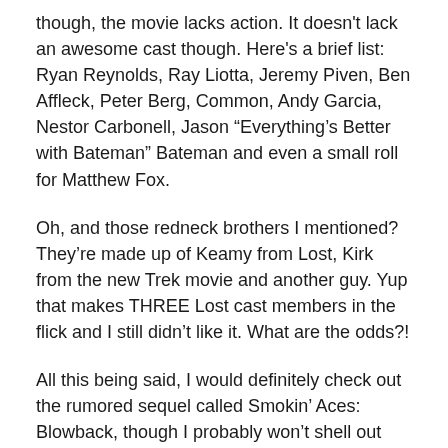though, the movie lacks action. It doesn't lack an awesome cast though. Here's a brief list: Ryan Reynolds, Ray Liotta, Jeremy Piven, Ben Affleck, Peter Berg, Common, Andy Garcia, Nestor Carbonell, Jason “Everything’s Better with Bateman” Bateman and even a small roll for Matthew Fox.
Oh, and those redneck brothers I mentioned? They’re made up of Keamy from Lost, Kirk from the new Trek movie and another guy. Yup that makes THREE Lost cast members in the flick and I still didn’t like it. What are the odds?!
All this being said, I would definitely check out the rumored sequel called Smokin’ Aces: Blowback, though I probably won’t shell out $10 again to see it in the theater. For my money, I’d rather check out a Shoot Em Up sequel, because that movie was exactly what I wanted it to be.